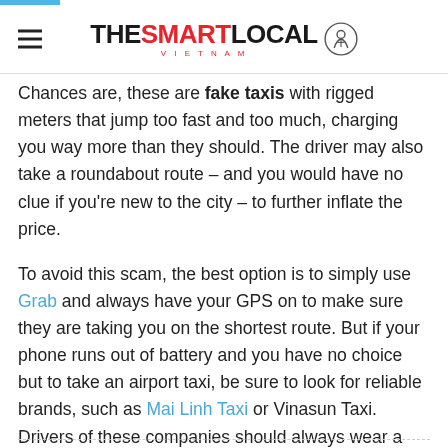THE SMART LOCAL VIETNAM
Chances are, these are fake taxis with rigged meters that jump too fast and too much, charging you way more than they should. The driver may also take a roundabout route – and you would have no clue if you're new to the city – to further inflate the price.
To avoid this scam, the best option is to simply use Grab and always have your GPS on to make sure they are taking you on the shortest route. But if your phone runs out of battery and you have no choice but to take an airport taxi, be sure to look for reliable brands, such as Mai Linh Taxi or Vinasun Taxi. Drivers of these companies should always wear a uniform and have his/her picture clearly displayed inside the car, so that's another clue to look out for.